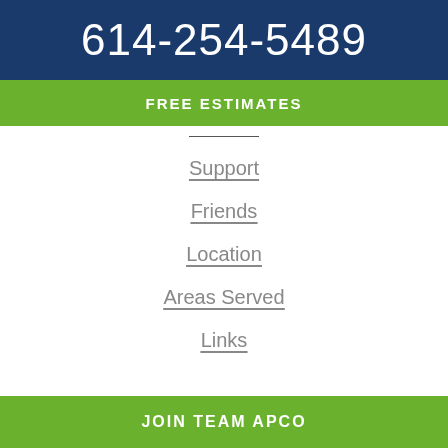614-254-5489
FREE ESTIMATES
Support
Friends
Location
Areas Served
Links
JOIN TEAM APCO